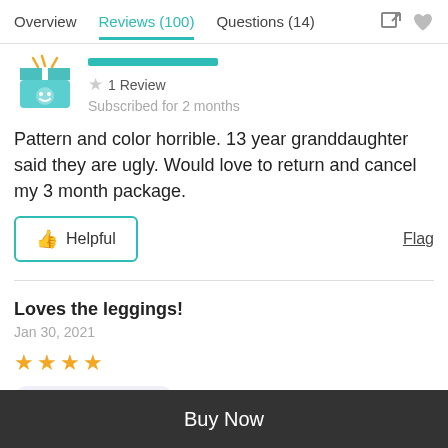Overview  Reviews (100)  Questions (14)
1 Review
Subscribed for 2 months
Pattern and color horrible. 13 year granddaughter said they are ugly. Would love to return and cancel my 3 month package.
Helpful  Flag
Loves the leggings!
Jan 30, 2021
★★★★
Verified Purchase
Buy Now